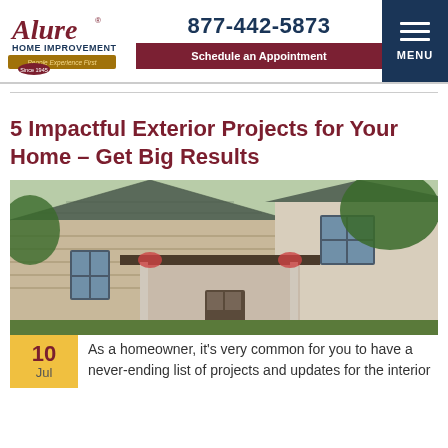[Figure (logo): Alure Home Improvements logo with red cursive text and gold banner ribbon, 'Since 1945']
877-442-5873
Schedule an Appointment
MENU
5 Impactful Exterior Projects for Your Home – Get Big Results
[Figure (photo): Exterior photo of a large traditional home with stone facade, gray slate roof, covered front porch, and lush green trees]
10
Jul
As a homeowner, it's very common for you to have a never-ending list of projects and updates for the interior